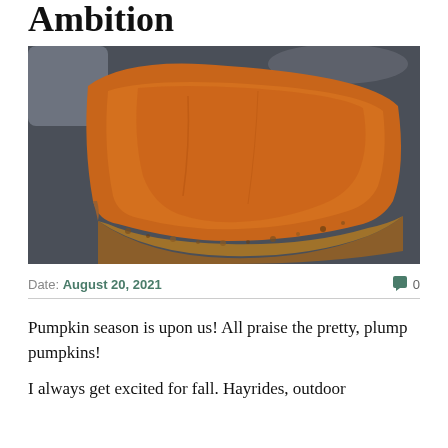Ambition
[Figure (photo): A close-up photograph of a slice of pumpkin pie with a crumbly nut crust, sitting on a dark grey slate surface. The filling is a deep orange pumpkin color with a smooth texture.]
Date: August 20, 2021    0
Pumpkin season is upon us! All praise the pretty, plump pumpkins!
I always get excited for fall. Hayrides, outdoor